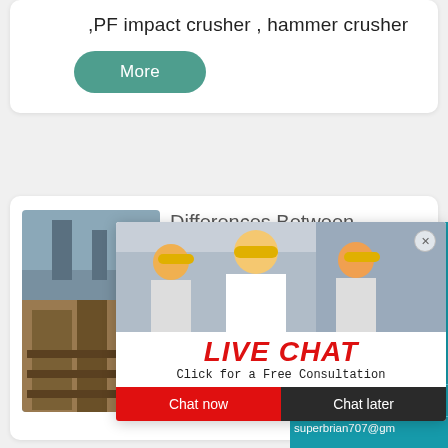,PF impact crusher , hammer crusher
More
Differences Between
[Figure (photo): Outdoor industrial crusher/mining equipment photo]
such as adjust rotor s... plate and the space o... and so on. We can ad... the gap through mech... hydraulic way. Comp... hammer crusher, the ...
[Figure (screenshot): Live chat popup overlay with workers in hard hats, LIVE CHAT heading in red, 'Click for a Free Consultation', Chat now and Chat later buttons]
[Figure (infographic): Teal right-side panel with 7 hours online, smiley face with headset, Click me to chat button, Enquiry section, email partial superbrian707@gm]